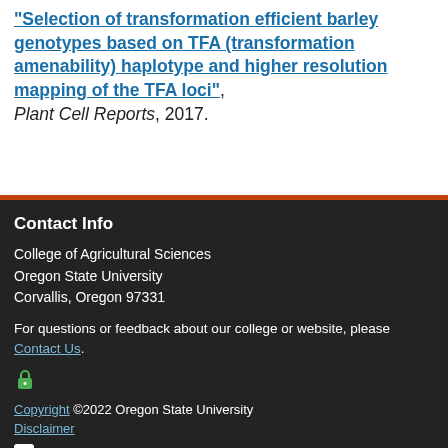Schavari, D., Sato, K., and Hayes, P.M., "Selection of transformation efficient barley genotypes based on TFA (transformation amenability) haplotype and higher resolution mapping of the TFA loci", Plant Cell Reports, 2017.
Contact Info
College of Agricultural Sciences
Oregon State University
Corvallis, Oregon 97331
For questions or feedback about our college or website, please Contact Us.
Copyright ©2022 Oregon State University
Disclaimer
Facebook
YouTube
LinkedIn